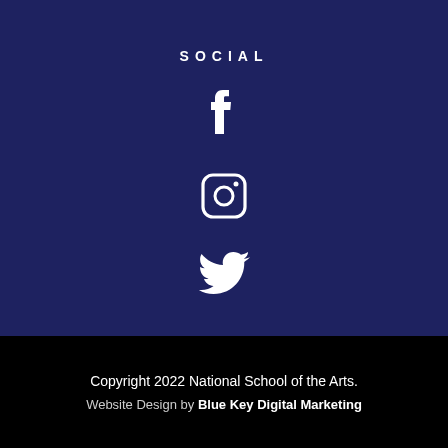SOCIAL
[Figure (illustration): Facebook icon (white 'f' letter on dark navy background)]
[Figure (illustration): Instagram icon (white rounded square camera outline on dark navy background)]
[Figure (illustration): Twitter icon (white bird silhouette on dark navy background)]
Copyright 2022 National School of the Arts.
Website Design by Blue Key Digital Marketing